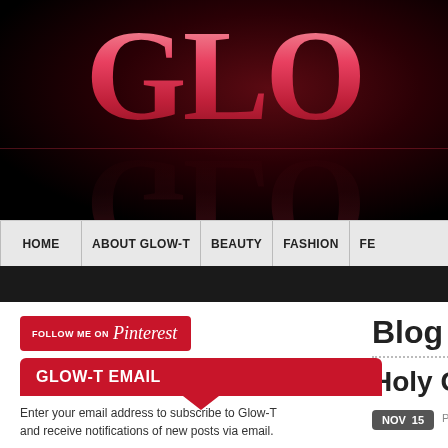[Figure (screenshot): Glow-T blog website header with large pink/red serif logo letters 'GLO' on a dark black background with gradient, showing a reflection below the letters]
HOME | ABOUT GLOW-T | BEAUTY | FASHION | FE...
[Figure (logo): Follow me on Pinterest button in red with Pinterest script logo]
Blog Arc
GLOW-T EMAIL
Holy Grail F
Enter your email address to subscribe to Glow-T and receive notifications of new posts via email.
NOV 15  Posted